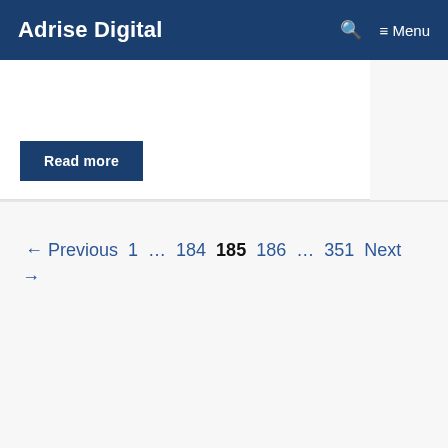Adrise Digital  Menu
Read more
← Previous 1 … 184 185 186 … 351 Next →